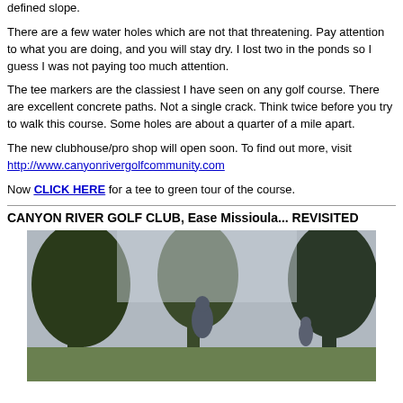defined slope.
There are a few water holes which are not that threatening. Pay attention to what you are doing, and you will stay dry. I lost two in the ponds so I guess I was not paying too much attention.
The tee markers are the classiest I have seen on any golf course. There are excellent concrete paths. Not a single crack. Think twice before you try to walk this course. Some holes are about a quarter of a mile apart.
The new clubhouse/pro shop will open soon. To find out more, visit http://www.canyonrivergolfcommunity.com
Now CLICK HERE for a tee to green tour of the course.
CANYON RIVER GOLF CLUB, Ease Missioula... REVISITED
[Figure (photo): Outdoor photo showing trees and figures on what appears to be a golf course fairway or path, blurred/low resolution]